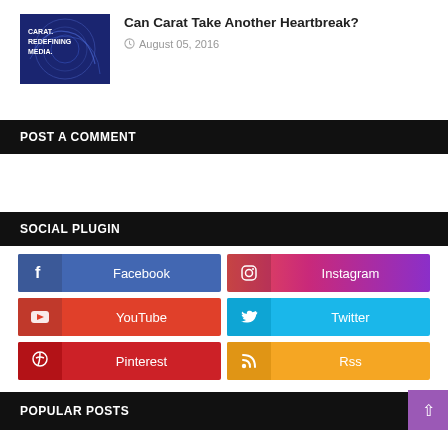[Figure (illustration): Blue circular media graphic with text CARAT. REDEFINING MEDIA.]
Can Carat Take Another Heartbreak?
August 05, 2016
POST A COMMENT
SOCIAL PLUGIN
[Figure (infographic): Social media buttons: Facebook, Instagram, YouTube, Twitter, Pinterest, Rss]
POPULAR POSTS